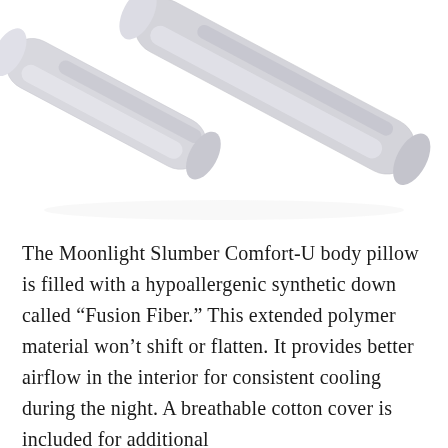[Figure (photo): Two white/light gray cylindrical body pillows lying diagonally on a white background, photographed from above at an angle.]
The Moonlight Slumber Comfort-U body pillow is filled with a hypoallergenic synthetic down called “Fusion Fiber.” This extended polymer material won’t shift or flatten. It provides better airflow in the interior for consistent cooling during the night. A breathable cotton cover is included for additional